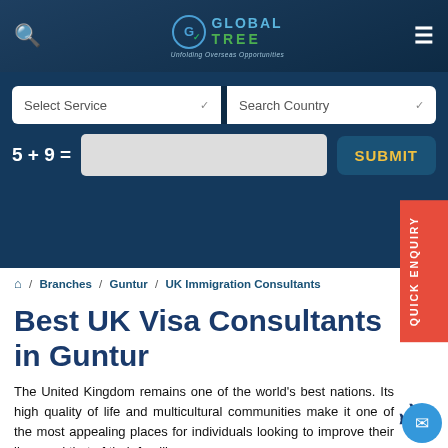Global Tree — Unfolding Overseas Opportunities
Select Service | Search Country | 5 + 9 = [input] SUBMIT
Home / Branches / Guntur / UK Immigration Consultants
Best UK Visa Consultants in Guntur
The United Kingdom remains one of the world's best nations. Its high quality of life and multicultural communities make it one of the most appealing places for individuals looking to improve their lives and that of their families.
If you are residing in Guntur and want to immigra...